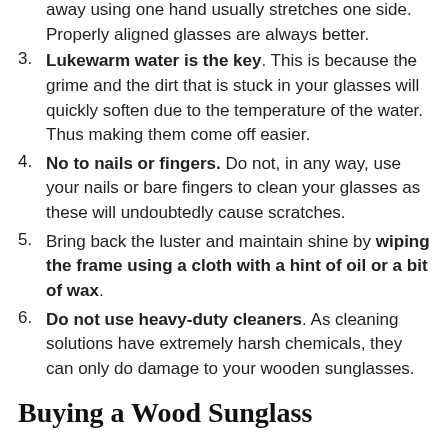away using one hand usually stretches one side. Properly aligned glasses are always better.
3. Lukewarm water is the key. This is because the grime and the dirt that is stuck in your glasses will quickly soften due to the temperature of the water. Thus making them come off easier.
4. No to nails or fingers. Do not, in any way, use your nails or bare fingers to clean your glasses as these will undoubtedly cause scratches.
5. Bring back the luster and maintain shine by wiping the frame using a cloth with a hint of oil or a bit of wax.
6. Do not use heavy-duty cleaners. As cleaning solutions have extremely harsh chemicals, they can only do damage to your wooden sunglasses.
Buying a Wood Sunglass